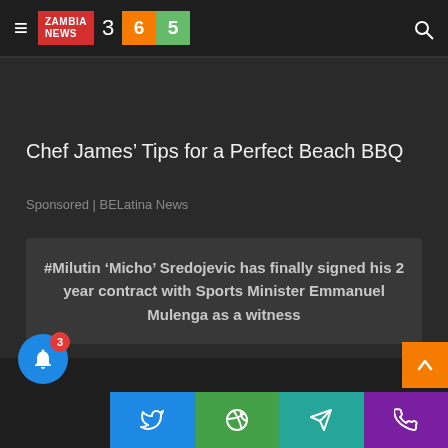ZAMBIA NEWS 365
Chef James’ Tips for a Perfect Beach BBQ
Sponsored | BELatina News
#Milutin ‘Micho’ Sredojevic has finally signed his 2 year contract with Sports Minister Emmanuel Mulenga as a witness